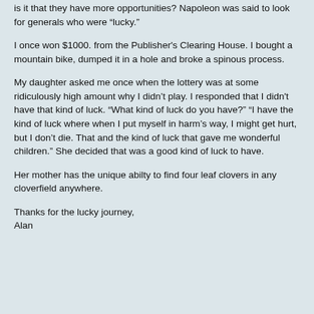is it that they have more opportunities? Napoleon was said to look for generals who were “lucky.”
I once won $1000. from the Publisher's Clearing House. I bought a mountain bike, dumped it in a hole and broke a spinous process.
My daughter asked me once when the lottery was at some ridiculously high amount why I didn’t play. I responded that I didn't have that kind of luck. “What kind of luck do you have?” “I have the kind of luck where when I put myself in harm’s way, I might get hurt, but I don’t die. That and the kind of luck that gave me wonderful children.” She decided that was a good kind of luck to have.
Her mother has the unique abilty to find four leaf clovers in any cloverfield anywhere.
Thanks for the lucky journey,
Alan